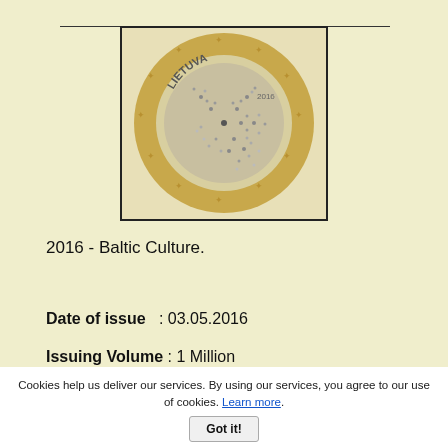[Figure (photo): A 2 euro commemorative coin from Lithuania (LIETUVA) 2016, Baltic Culture theme, showing a stylized figure with dot pattern design on the obverse, surrounded by 12 stars ring.]
2016 - Baltic Culture.
Date of issue   : 03.05.2016
Issuing Volume : 1 Million
Cookies help us deliver our services. By using our services, you agree to our use of cookies. Learn more. Got it!